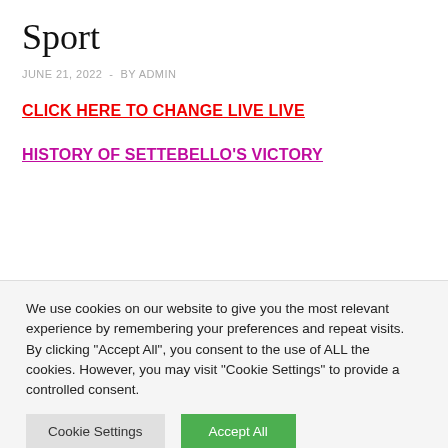Sport
JUNE 21, 2022  -  BY ADMIN
CLICK HERE TO CHANGE LIVE LIVE
HISTORY OF SETTEBELLO'S VICTORY
We use cookies on our website to give you the most relevant experience by remembering your preferences and repeat visits. By clicking "Accept All", you consent to the use of ALL the cookies. However, you may visit "Cookie Settings" to provide a controlled consent.
Cookie Settings | Accept All